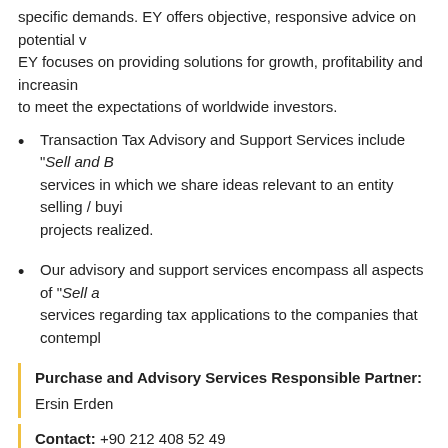specific demands. EY offers objective, responsive advice on potential v... EY focuses on providing solutions for growth, profitability and increasing... to meet the expectations of worldwide investors.
Transaction Tax Advisory and Support Services include "Sell and B... services in which we share ideas relevant to an entity selling / buying... projects realized.
Our advisory and support services encompass all aspects of "Sell a... services regarding tax applications to the companies that contempl...
Purchase and Advisory Services Responsible Partner: Ersin Erden...
Contact: +90 212 408 52 49
EY refers to one or more of the member firms of EY Global Limited (EY... not provide any services to clients. Services are provided by EYG mem... liability for another such entity's acts or omissions. Certain content on th...
Our site can be best viewed by IE6+, Chrome, Firefox and Safari web b...